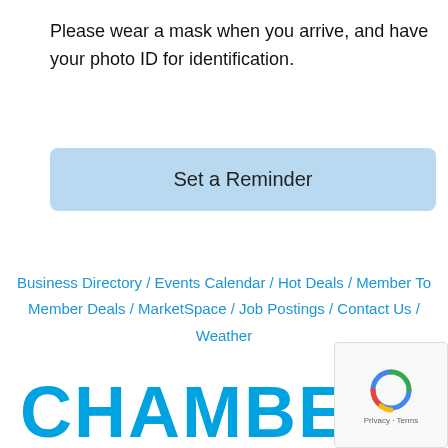Please wear a mask when you arrive, and have your photo ID for identification.
Set a Reminder
Business Directory / Events Calendar / Hot Deals / Member To Member Deals / MarketSpace / Job Postings / Contact Us / Weather
[Figure (logo): Powered by GrowthZone logo]
CHAMBER